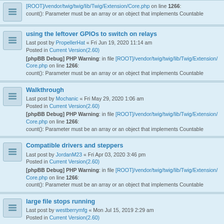[ROOT]/vendor/twig/twig/lib/Twig/Extension/Core.php on line 1266: count(): Parameter must be an array or an object that implements Countable
using the leftover GPIOs to switch on relays
Last post by PropellerHat « Fri Jun 19, 2020 11:14 am
Posted in Current Version(2.60)
[phpBB Debug] PHP Warning: in file [ROOT]/vendor/twig/twig/lib/Twig/Extension/Core.php on line 1266: count(): Parameter must be an array or an object that implements Countable
Walkthrough
Last post by Mochanic « Fri May 29, 2020 1:06 am
Posted in Current Version(2.60)
[phpBB Debug] PHP Warning: in file [ROOT]/vendor/twig/twig/lib/Twig/Extension/Core.php on line 1266: count(): Parameter must be an array or an object that implements Countable
Compatible drivers and steppers
Last post by JordanM23 « Fri Apr 03, 2020 3:46 pm
Posted in Current Version(2.60)
[phpBB Debug] PHP Warning: in file [ROOT]/vendor/twig/twig/lib/Twig/Extension/Core.php on line 1266: count(): Parameter must be an array or an object that implements Countable
large file stops running
Last post by westberrymfg « Mon Jul 15, 2019 2:29 am
Posted in Current Version(2.60)
[phpBB Debug] PHP Warning: in file [ROOT]/vendor/twig/twig/lib/Twig/Extension/Core.php on line 1266: count(): Parameter must be an array or an object that implements Countable
Using CNC Shield with 3 axis and laser control
Last post by marciorssilva « Mon Jun 24, 2019 12:29 pm
Posted in Old CNC Shield V3.00 and Chines copies of it...